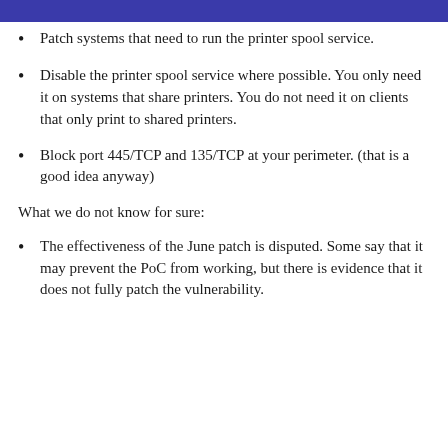Patch systems that need to run the printer spool service.
Disable the printer spool service where possible. You only need it on systems that share printers. You do not need it on clients that only print to shared printers.
Block port 445/TCP and 135/TCP at your perimeter. (that is a good idea anyway)
What we do not know for sure:
The effectiveness of the June patch is disputed. Some say that it may prevent the PoC from working, but there is evidence that it does not fully patch the vulnerability.